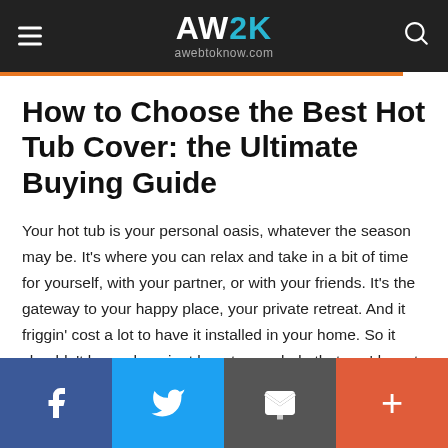AW2K awebtoknow.com
How to Choose the Best Hot Tub Cover: the Ultimate Buying Guide
Your hot tub is your personal oasis, whatever the season may be. It's where you can relax and take in a bit of time for yourself, with your partner, or with your friends. It's the gateway to your happy place, your private retreat. And it friggin' cost a lot to have it installed in your home. So it shouldn't be such a giant leap to conclude that you'd want to ensure it remains that way. Enter the hot tub cover.
f  twitter  email  +